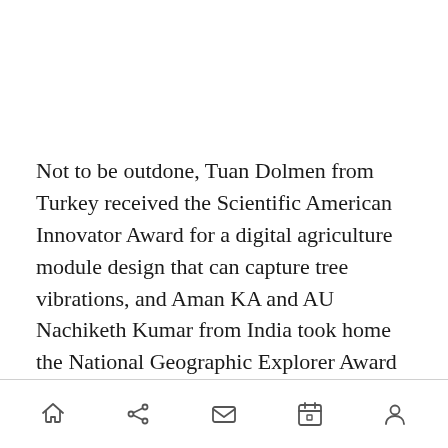Not to be outdone, Tuan Dolmen from Turkey received the Scientific American Innovator Award for a digital agriculture module design that can capture tree vibrations, and Aman KA and AU Nachiketh Kumar from India took home the National Geographic Explorer Award for a natural coagulant for rubber latex.
“We are so impressed with all of this year’s Google Science Fair finalists,” said Google chief internet
[navigation icons: home, share, mail, calendar, profile]